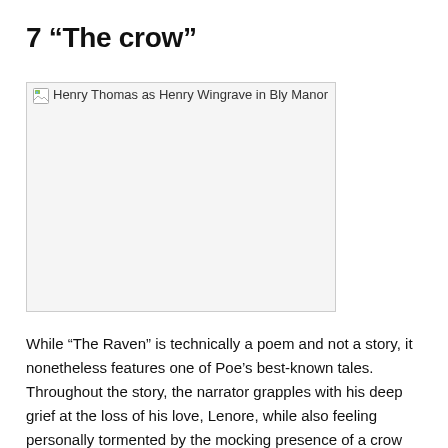7 “The crow”
[Figure (photo): Broken image placeholder with alt text: Henry Thomas as Henry Wingrave in Bly Manor]
While “The Raven” is technically a poem and not a story, it nonetheless features one of Poe’s best-known tales. Throughout the story, the narrator grapples with his deep grief at the loss of his love, Lenore, while also feeling personally tormented by the mocking presence of a crow who can only utter the word “Never